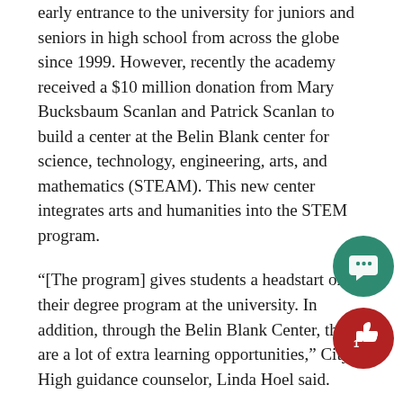early entrance to the university for juniors and seniors in high school from across the globe since 1999. However, recently the academy received a $10 million donation from Mary Bucksbaum Scanlan and Patrick Scanlan to build a center at the Belin Blank center for science, technology, engineering, arts, and mathematics (STEAM). This new center integrates arts and humanities into the STEM program.
“[The program] gives students a headstart on their degree program at the university. In addition, through the Belin Blank Center, there are a lot of extra learning opportunities,” City High guidance counselor, Linda Hoel said.
The Bucksbaum Early Entrance Academy is for high-achieving 10th graders. These students enroll at The University of Iowa the semester following the completion their sophomore year as first-year university students.
High school sophomore, Gabriel McCormick is one of many